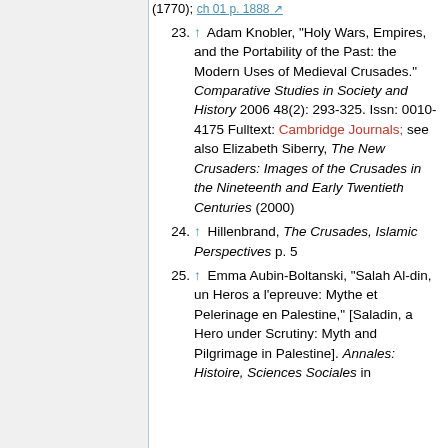23. ↑ Adam Knobler, "Holy Wars, Empires, and the Portability of the Past: the Modern Uses of Medieval Crusades." Comparative Studies in Society and History 2006 48(2): 293-325. Issn: 0010-4175 Fulltext: Cambridge Journals; see also Elizabeth Siberry, The New Crusaders: Images of the Crusades in the Nineteenth and Early Twentieth Centuries (2000)
24. ↑ Hillenbrand, The Crusades, Islamic Perspectives p. 5
25. ↑ Emma Aubin-Boltanski, "Salah Al-din, un Heros a l'epreuve: Mythe et Pelerinage en Palestine," [Saladin, a Hero under Scrutiny: Myth and Pilgrimage in Palestine]. Annales: Histoire, Sciences Sociales in